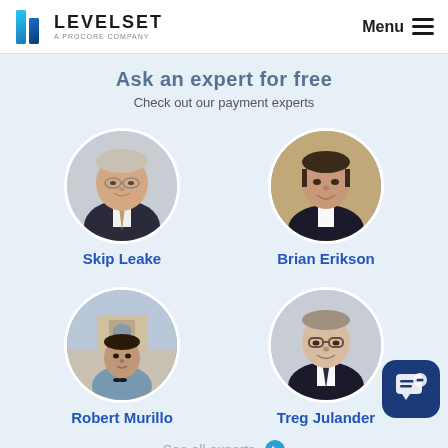Levelset – A Procore Company | Menu
Ask an expert for free
Check out our payment experts
[Figure (photo): Circular headshot photo of Skip Leake, a man in a suit with glasses]
Skip Leake
[Figure (photo): Circular headshot photo of Brian Erikson, a man in a dark suit]
Brian Erikson
[Figure (photo): Circular photo of Robert Murillo, a man outdoors in front of the Arc de Triomphe]
Robert Murillo
[Figure (photo): Circular headshot photo of Treg Julander, a man in a suit with glasses]
Treg Julander
See all experts